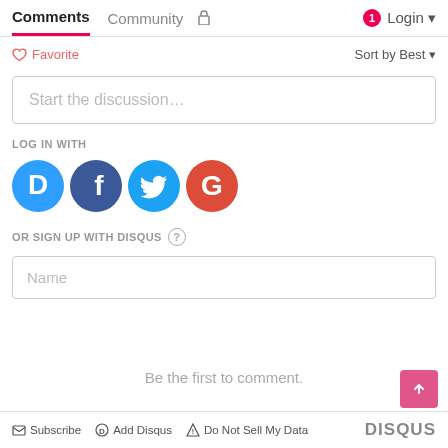Comments   Community   🔒   1   Login
❤ Favorite   Sort by Best ▾
Start the discussion...
LOG IN WITH
[Figure (logo): Social login icons: Disqus (D), Facebook (f), Twitter bird, Google (G)]
OR SIGN UP WITH DISQUS ?
Name
Be the first to comment.
✉ Subscribe   Ⓓ Add Disqus   ⚠ Do Not Sell My Data   DISQUS